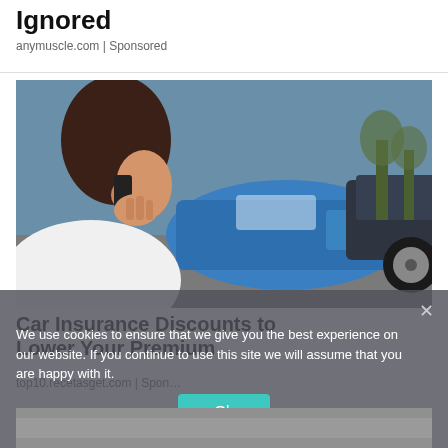Ignored
anymuscle.com | Sponsored
[Figure (photo): Woman talking on phone after car accident, two damaged cars in background (one blue, one dark)]
Car Insurance Discounts to Lower Your Premium
top10.recetasget.com | Spon…
We use cookies to ensure that we give you the best experience on our website. If you continue to use this site we will assume that you are happy with it.
[Figure (photo): Partially visible bottom image, mostly gray/dark]